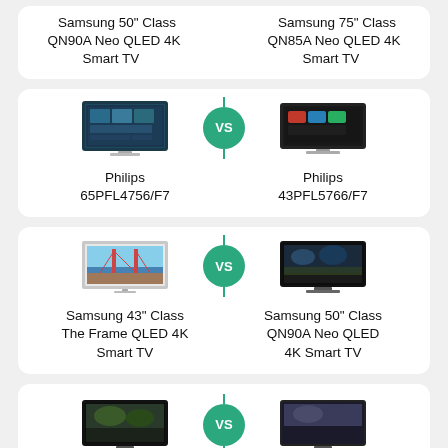[Figure (infographic): Top partial comparison card showing Samsung 50" Class QN90A Neo QLED 4K Smart TV vs Samsung 75" Class QN85A Neo QLED 4K Smart TV]
Samsung 50" Class QN90A Neo QLED 4K Smart TV
Samsung 75" Class QN85A Neo QLED 4K Smart TV
[Figure (infographic): Comparison card: Philips 65PFL4756/F7 vs Philips 43PFL5766/F7 with VS badge in center]
Philips 65PFL4756/F7
Philips 43PFL5766/F7
[Figure (infographic): Comparison card: Samsung 43" Class The Frame QLED 4K Smart TV vs Samsung 50" Class QN90A Neo QLED 4K Smart TV with VS badge]
Samsung 43” Class The Frame QLED 4K Smart TV
Samsung 50" Class QN90A Neo QLED 4K Smart TV
[Figure (infographic): Bottom partial comparison card with two TVs and VS badge, product names cut off]